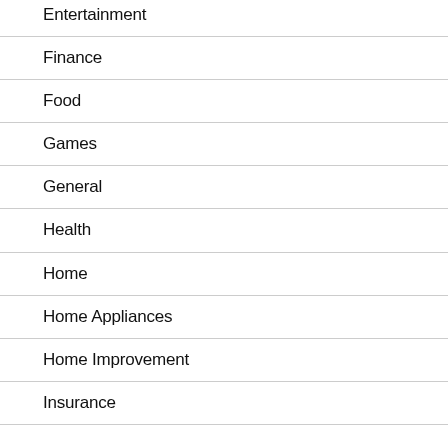Entertainment
Finance
Food
Games
General
Health
Home
Home Appliances
Home Improvement
Insurance